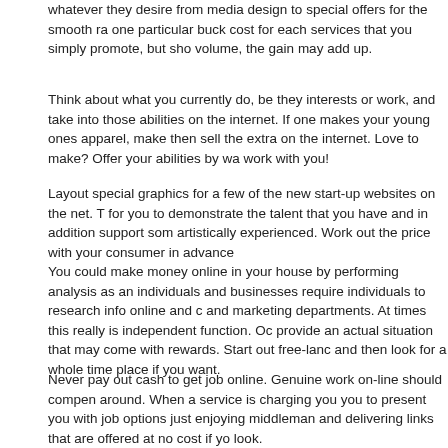whatever they desire from media design to special offers for the smooth ra one particular buck cost for each services that you simply promote, but sho volume, the gain may add up.
Think about what you currently do, be they interests or work, and take into those abilities on the internet. If one makes your young ones apparel, make then sell the extra on the internet. Love to make? Offer your abilities by wa work with you!
Layout special graphics for a few of the new start-up websites on the net. T for you to demonstrate the talent that you have and in addition support som artistically experienced. Work out the price with your consumer in advance
You could make money online in your house by performing analysis as an individuals and businesses require individuals to research info online and c and marketing departments. At times this really is independent function. Oc provide an actual situation that may come with rewards. Start out free-lanc and then look for a whole time place if you want.
Never pay out cash to get job online. Genuine work on-line should compen around. When a service is charging you you to present you with job options just enjoying middleman and delivering links that are offered at no cost if yo look.